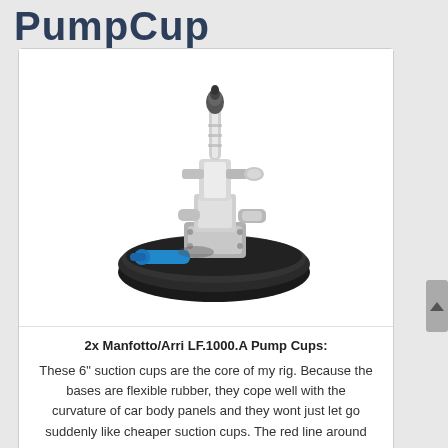PumpCup
[Figure (photo): A Manfotto/Arri LF.1000.A Pump Cup suction mount device with chrome metal clamp mechanism on top of a large black rubber suction cup base, with a blue valve/pump fitting on the side.]
2x Manfotto/Arri LF.1000.A Pump Cups: These 6" suction cups are the core of my rig. Because the bases are flexible rubber, they cope well with the curvature of car body panels and they wont just let go suddenly like cheaper suction cups. The red line around